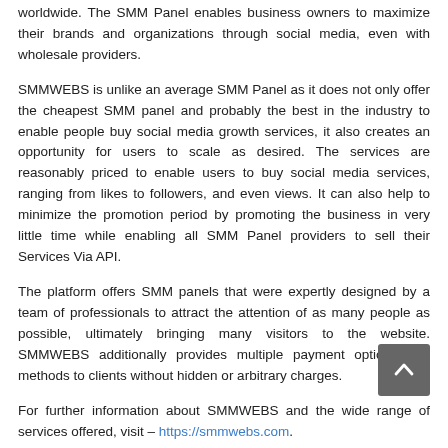seen in the feats achieved in recent times by organizations worldwide. The SMM Panel enables business owners to maximize their brands and organizations through social media, even with wholesale providers.
SMMWEBS is unlike an average SMM Panel as it does not only offer the cheapest SMM panel and probably the best in the industry to enable people buy social media growth services, it also creates an opportunity for users to scale as desired. The services are reasonably priced to enable users to buy social media services, ranging from likes to followers, and even views. It can also help to minimize the promotion period by promoting the business in very little time while enabling all SMM Panel providers to sell their Services Via API.
The platform offers SMM panels that were expertly designed by a team of professionals to attract the attention of as many people as possible, ultimately bringing many visitors to the website. SMMWEBS additionally provides multiple payment options and methods to clients without hidden or arbitrary charges.
For further information about SMMWEBS and the wide range of services offered, visit – https://smmwebs.com.
About SMMWEBS
SMMWEBS is an SMM PANEL company that specializes in providing...